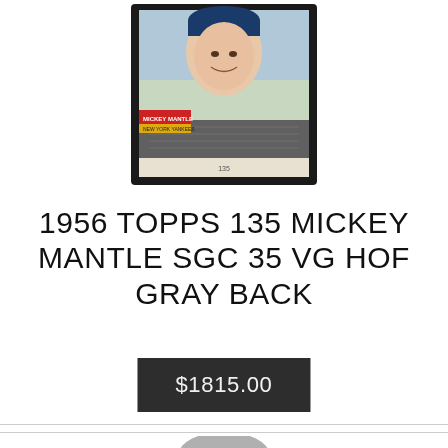[Figure (photo): 1956 Topps Mickey Mantle baseball card #135 in a protective case/holder, showing Mickey Mantle's portrait photo with New York Yankees cap and a fielding scene below, graded by SGC]
1956 TOPPS 135 MICKEY MANTLE SGC 35 VG HOF GRAY BACK
$1815.00
[Figure (photo): Partial view of another sports card item at the bottom of the page]